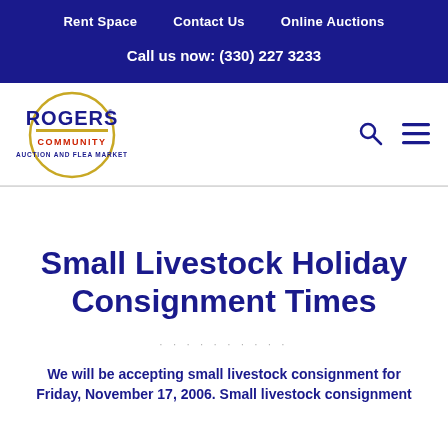Rent Space    Contact Us    Online Auctions
Call us now: (330) 227 3233
[Figure (logo): Rogers Community Auction and Flea Market logo — circular gold border with ROGERS in large navy text, COMMUNITY in red below, AUCTION AND FLEA MARKET in smaller navy text at bottom]
Small Livestock Holiday Consignment Times
We will be accepting small livestock consignment for Friday, November 17, 2006. Small livestock consignment